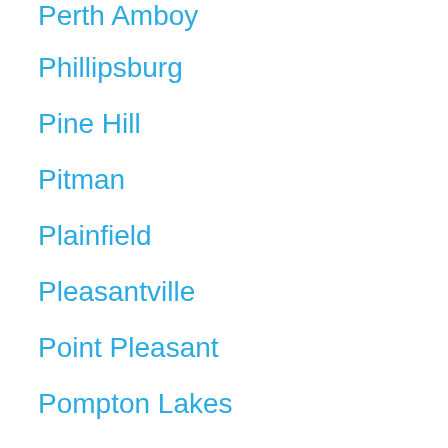Perth Amboy
Phillipsburg
Pine Hill
Pitman
Plainfield
Pleasantville
Point Pleasant
Pompton Lakes
Princeton
Rahway
Ramsey
Red Bank
Ridgefield